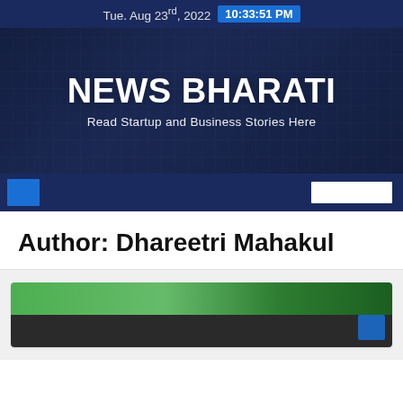Tue. Aug 23rd, 2022  10:33:51 PM
NEWS BHARATI
Read Startup and Business Stories Here
Author: Dhareetri Mahakul
[Figure (photo): Article thumbnail with green outdoor scene above and dark bar below]